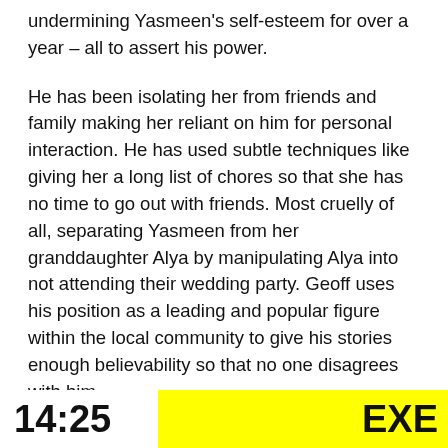undermining Yasmeen's self-esteem for over a year – all to assert his power.
He has been isolating her from friends and family making her reliant on him for personal interaction. He has used subtle techniques like giving her a long list of chores so that she has no time to go out with friends. Most cruelly of all, separating Yasmeen from her granddaughter Alya by manipulating Alya into not attending their wedding party. Geoff uses his position as a leading and popular figure within the local community to give his stories enough believability so that no one disagrees with him.
At no stage does Geoff show violence to Yasmeen. He doesn't raise his hand or assault her. So, it's not abuse, right?
14:25  EXE